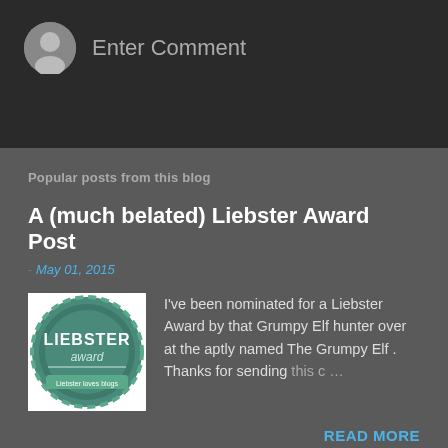[Figure (illustration): Gray circular avatar icon]
Enter Comment
Popular posts from this blog
A (much belated) Liebster Award Post
- May 01, 2015
[Figure (logo): Liebster Award badge/logo — circular green badge with text LIEBSTER award]
I've been nominated for a Liebster Award by that Grumpy Elf hunter over at the aptly named The Grumpy Elf . Thanks for sending this c …
READ MORE
Bee Math